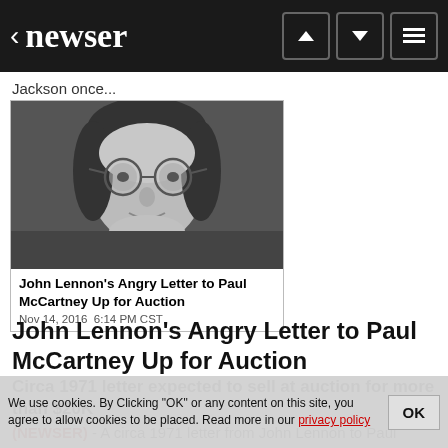newser
Jackson once...
[Figure (photo): Black and white photo of John Lennon wearing round glasses]
John Lennon's Angry Letter to Paul McCartney Up for Auction
Nov 14, 2016  6:14 PM CST
John Lennon's Angry Letter to Paul McCartney Up for Auction
Circa 1971 letter expected to sell at auction for more than $20K
(NEWSER) - A circa 1971 letter from John Lennon to Paul McCartney contained re... left the
We use cookies. By Clicking "OK" or any content on this site, you agree to allow cookies to be placed. Read more in our privacy policy